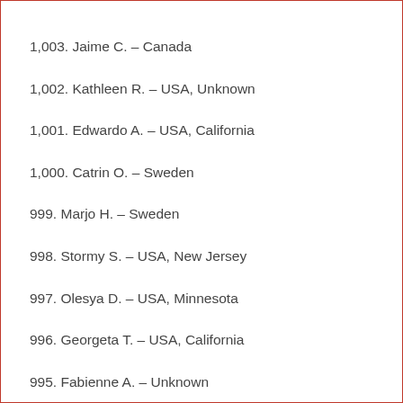1,003. Jaime C. – Canada
1,002. Kathleen R. – USA, Unknown
1,001. Edwardo A. – USA, California
1,000. Catrin O. – Sweden
999. Marjo H. – Sweden
998. Stormy S. – USA, New Jersey
997. Olesya D. – USA, Minnesota
996. Georgeta T. – USA, California
995. Fabienne A. – Unknown